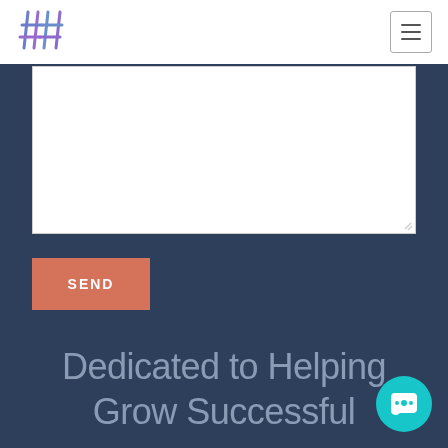[Figure (logo): Stylized hashtag/monogram logo in blue and purple tones]
[Figure (other): Hamburger menu button with three horizontal lines]
[Figure (other): White textarea input box with resize handle]
SEND
Dedicated to Helping Grow Successful